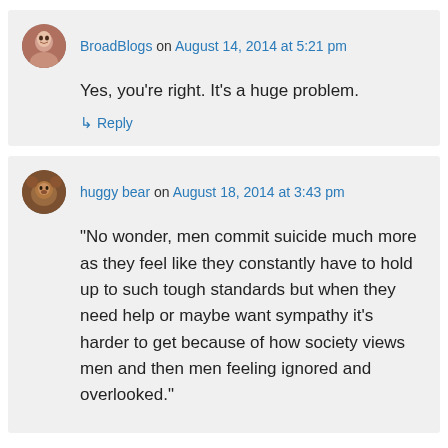BroadBlogs on August 14, 2014 at 5:21 pm
Yes, you're right. It's a huge problem.
Reply
huggy bear on August 18, 2014 at 3:43 pm
“No wonder, men commit suicide much more as they feel like they constantly have to hold up to such tough standards but when they need help or maybe want sympathy it’s harder to get because of how society views men and then men feeling ignored and overlooked.”